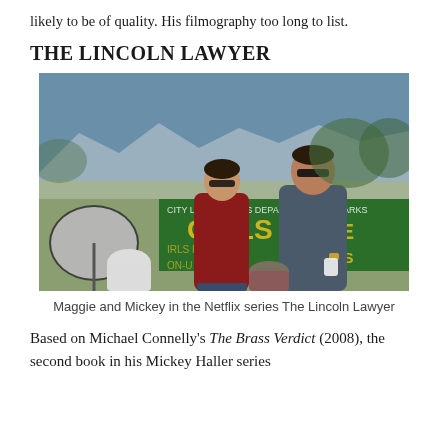likely to be of quality. His filmography too long to list.
THE LINCOLN LAWYER
[Figure (photo): A woman in a red top and a man in a grey long-sleeve shirt, both wearing sunglasses, standing outdoors near a chain-link fence with a green Girls Recreation banner; other people visible in background.]
Maggie and Mickey in the Netflix series The Lincoln Lawyer
Based on Michael Connelly's The Brass Verdict (2008), the second book in his Mickey Haller series